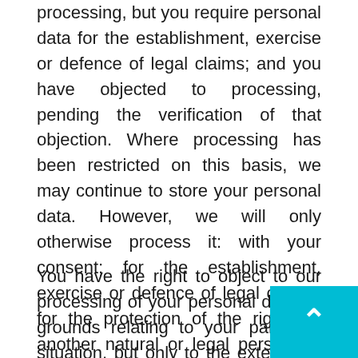processing, but you require personal data for the establishment, exercise or defence of legal claims; and you have objected to processing, pending the verification of that objection. Where processing has been restricted on this basis, we may continue to store your personal data. However, we will only otherwise process it: with your consent; for the establishment, exercise or defence of legal claims; for the protection of the rights of another natural or legal person; or for reasons of important public interest.
You have the right to object to our processing of your personal data on grounds relating to your particular situation, but only to the extent that the legal basis for the processing is that the processing is necessary for: the performance of a task carried out in the public interest or in the exercise of any official authority vested in us; purposes of the legitimate interests pursued by us or by a third party. If you make such an objection, we will...